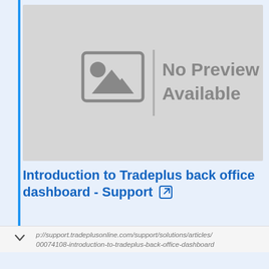[Figure (other): No Preview Available placeholder image with mountain/sun icon]
Introduction to Tradeplus back office dashboard - Support
p://support.tradeplusonline.com/support/solutions/articles/
00074108-introduction-to-tradeplus-back-office-dashboard